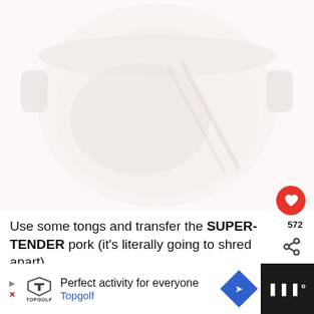[Figure (photo): Faded/washed-out photo of food (pork) in a large pot or dutch oven, viewed from above. The image is very light/pale with a white overlay effect.]
Use some tongs and transfer the SUPER-TENDER pork (it's literally going to shred apart)...
[Figure (photo): Small circular thumbnail of Instant Pot food dish]
WHAT'S NEXT → Instant Pot Unstuffed...
[Figure (infographic): Advertisement banner: Perfect activity for everyone - Topgolf, with Topgolf logo and navigation icons]